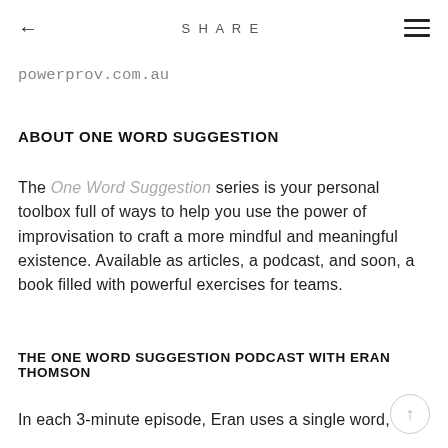← SHARE ≡
powerprov.com.au
ABOUT ONE WORD SUGGESTION
The One Word Suggestion series is your personal toolbox full of ways to help you use the power of improvisation to craft a more mindful and meaningful existence. Available as articles, a podcast, and soon, a book filled with powerful exercises for teams.
THE ONE WORD SUGGESTION PODCAST WITH ERAN THOMSON
In each 3-minute episode, Eran uses a single word,